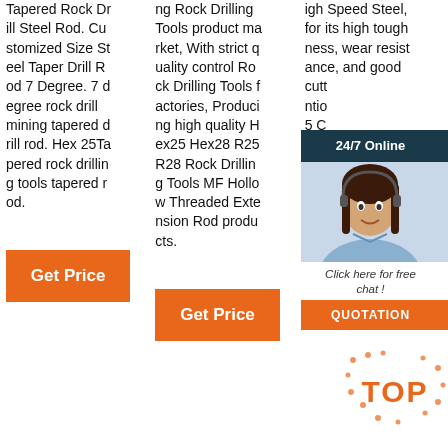Tapered Rock Drill Steel Rod. Customized Size Steel Taper Drill Rod 7 Degree. 7 degree rock drill mining tapered drill rod. Hex 25Tapered rock drilling tools tapered rod.
Get Price
ng Rock Drilling Tools product market, With strict quality control Rock Drilling Tools factories, Producing high quality Hex25 Hex28 R25 R28 Rock Drilling Tools MF Hollow Threaded Extension Rod products.
Get Price
igh Speed Steel, for its high toughness, wear resistance, and good cutting performance #6 countersink and counterbore in 1 step; The countersink cutter doesn't clog up providing ...
[Figure (photo): 24/7 Online chat widget with agent photo, 'Click here for free chat!' text and QUOTATION button]